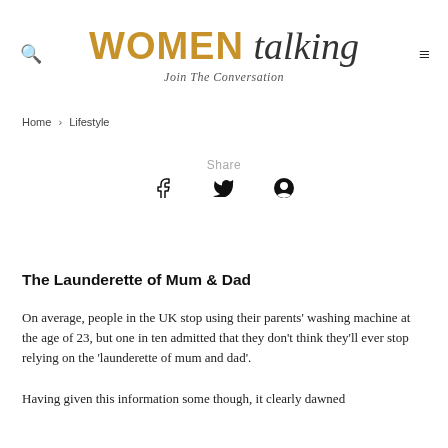WOMEN talking — Join The Conversation
Home › Lifestyle
Share
[Figure (other): Social share icons: Facebook, Twitter, Pinterest]
The Launderette of Mum & Dad
On average, people in the UK stop using their parents' washing machine at the age of 23, but one in ten admitted that they don't think they'll ever stop relying on the 'launderette of mum and dad'.
Having given this information some though, it clearly dawned